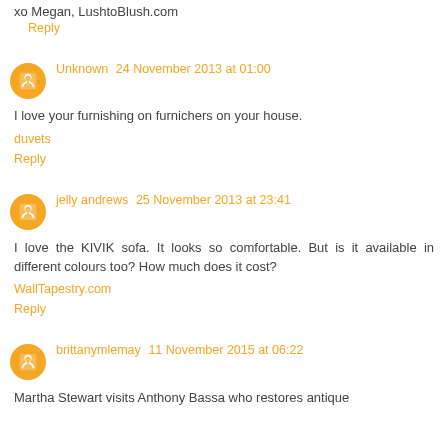xo Megan, LushtoBlush.com
Reply
Unknown 24 November 2013 at 01:00
I love your furnishing on furnichers on your house.
duvets
Reply
jelly andrews 25 November 2013 at 23:41
I love the KIVIK sofa. It looks so comfortable. But is it available in different colours too? How much does it cost?
WallTapestry.com
Reply
brittanymlemay 11 November 2015 at 06:22
Martha Stewart visits Anthony Bassa who restores antique